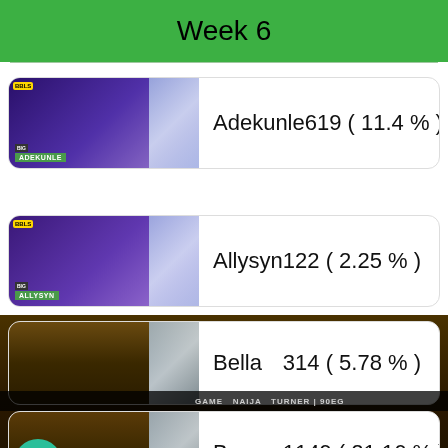Week 6
| Contestant | Votes (%) |
| --- | --- |
| Adekunle | 619 ( 11.4 % ) |
| Allysyn | 122 ( 2.25 % ) |
| Bella | 314 ( 5.78 % ) |
| Bryann | 1149 ( 21.16 % ) |